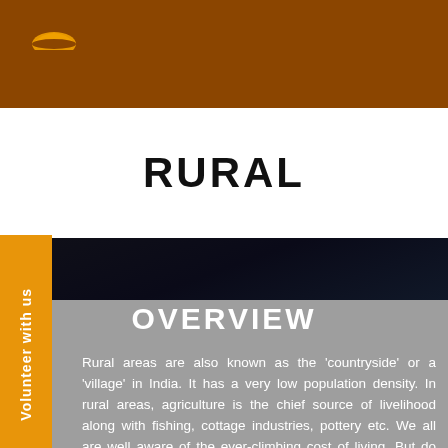[Figure (logo): Orange/amber sunrise or arch logo on brown background]
RURAL
OVERVIEW
Rural areas are also known as the ‘countryside’ or a ‘village’ in India. It has a very low population density. In rural areas, agriculture is the chief source of livelihood along with fishing, cottage industries, pottery etc. We all are well aware of the ever-climbing cost of living. But do you know that according